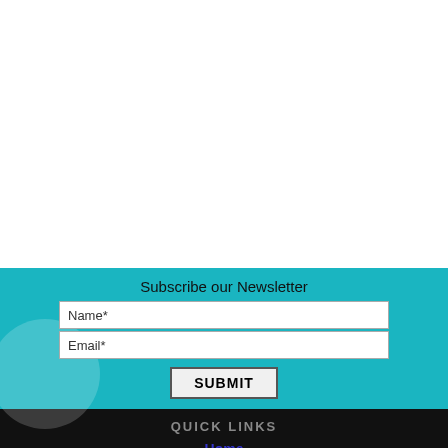Subscribe our Newsletter
Name*
Email*
SUBMIT
QUICK LINKS
Home
About Us
[Figure (infographic): Bottom navigation bar with shopping cart icon with badge showing 0, phone icon, and envelope/mail icon on teal background]